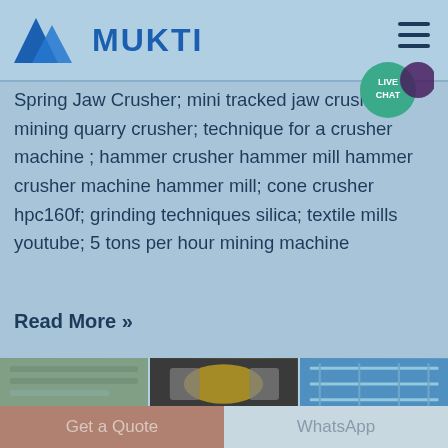[Figure (logo): Mukti company logo with blue triangular mountain-like symbol and bold blue MUKTI text]
Spring Jaw Crusher; mini tracked jaw crushers mining quarry crusher; technique for a crusher machine ; hammer crusher hammer mill hammer crusher machine hammer mill; cone crusher hpc160f; grinding techniques silica; textile mills youtube; 5 tons per hour mining machine
Read More »
[Figure (photo): Three industrial machinery photos side by side: conveyor/screening equipment, yellow jaw crusher, and structural steel framework]
Get a Quote
WhatsApp